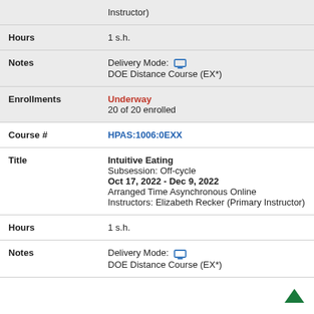| Field | Value |
| --- | --- |
| (partial - Instructor) |  |
| Hours | 1 s.h. |
| Notes | Delivery Mode: [monitor icon]
DOE Distance Course (EX*) |
| Enrollments | Underway
20 of 20 enrolled |
| Course # | HPAS:1006:0EXX |
| Title | Intuitive Eating
Subsession: Off-cycle
Oct 17, 2022 - Dec 9, 2022
Arranged Time Asynchronous Online
Instructors: Elizabeth Recker (Primary Instructor) |
| Hours | 1 s.h. |
| Notes | Delivery Mode: [monitor icon]
DOE Distance Course (EX*) |